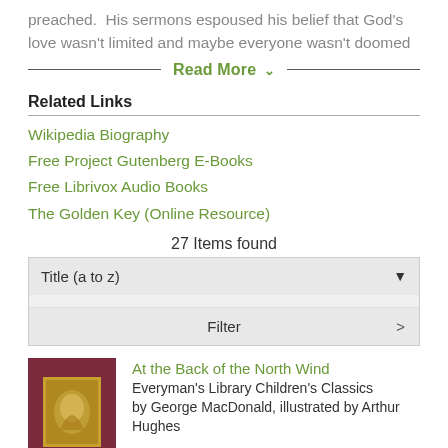preached.  His sermons espoused his belief that God's love wasn't limited and maybe everyone wasn't doomed
Read More ˅
Related Links
Wikipedia Biography
Free Project Gutenberg E-Books
Free Librivox Audio Books
The Golden Key (Online Resource)
27 Items found
Title (a to z)
Filter
At the Back of the North Wind
Everyman's Library Children's Classics
by George MacDonald, illustrated by Arthur Hughes